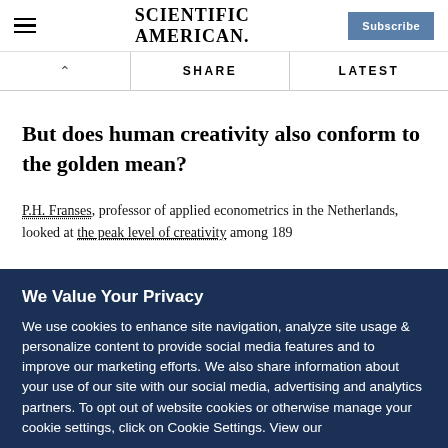Scientific American | Subscribe
SHARE | LATEST
But does human creativity also conform to the golden mean?
P.H. Franses, professor of applied econometrics in the Netherlands, looked at the peak level of creativity among 189
We Value Your Privacy
We use cookies to enhance site navigation, analyze site usage & personalize content to provide social media features and to improve our marketing efforts. We also share information about your use of our site with our social media, advertising and analytics partners. To opt out of website cookies or otherwise manage your cookie settings, click on Cookie Settings. View our